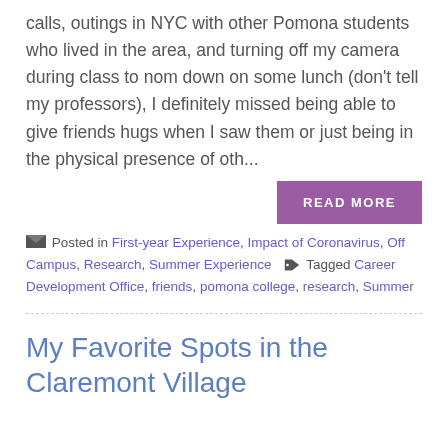calls, outings in NYC with other Pomona students who lived in the area, and turning off my camera during class to nom down on some lunch (don't tell my professors), I definitely missed being able to give friends hugs when I saw them or just being in the physical presence of oth...
READ MORE
Posted in First-year Experience, Impact of Coronavirus, Off Campus, Research, Summer Experience  Tagged Career Development Office, friends, pomona college, research, Summer
My Favorite Spots in the Claremont Village